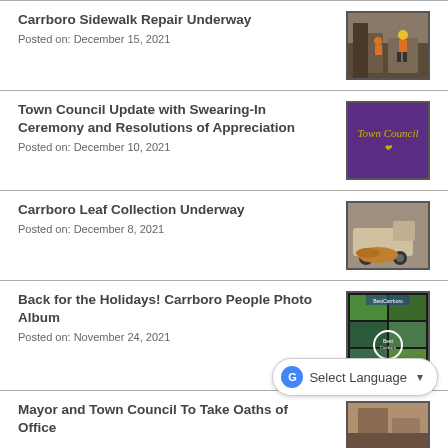Carrboro Sidewalk Repair Underway
Posted on: December 15, 2021
Town Council Update with Swearing-In Ceremony and Resolutions of Appreciation
Posted on: December 10, 2021
Carrboro Leaf Collection Underway
Posted on: December 8, 2021
Back for the Holidays! Carrboro People Photo Album
Posted on: November 24, 2021
Mayor and Town Council To Take Oaths of Office